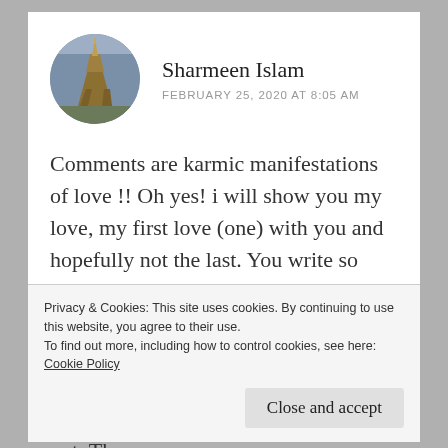Sharmeen Islam
FEBRUARY 25, 2020 AT 8:05 AM
Comments are karmic manifestations of love !! Oh yes! i will show you my love, my first love (one) with you and hopefully not the last. You write so beautifully, one among many of the best like Ruchi, Sohini, jigs, chokri_asr and all. Its like falling in love with Arnav and Khushi again and again , whether the stories follow the show or not. The
Privacy & Cookies: This site uses cookies. By continuing to use this website, you agree to their use.
To find out more, including how to control cookies, see here: Cookie Policy
Close and accept